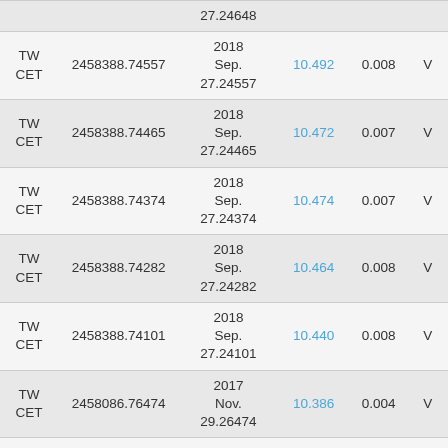|  | JD | Date | Mag | Err |  |
| --- | --- | --- | --- | --- | --- |
|  |  | 27.24648 |  |  |  |
| TW
CET | 2458388.74557 | 2018
Sep.
27.24557 | 10.492 | 0.008 | V |
| TW
CET | 2458388.74465 | 2018
Sep.
27.24465 | 10.472 | 0.007 | V |
| TW
CET | 2458388.74374 | 2018
Sep.
27.24374 | 10.474 | 0.007 | V |
| TW
CET | 2458388.74282 | 2018
Sep.
27.24282 | 10.464 | 0.008 | V |
| TW
CET | 2458388.74101 | 2018
Sep.
27.24101 | 10.440 | 0.008 | V |
| TW
CET | 2458086.76474 | 2017
Nov.
29.26474 | 10.386 | 0.004 | V |
| TW |  | 2017 |  |  |  |